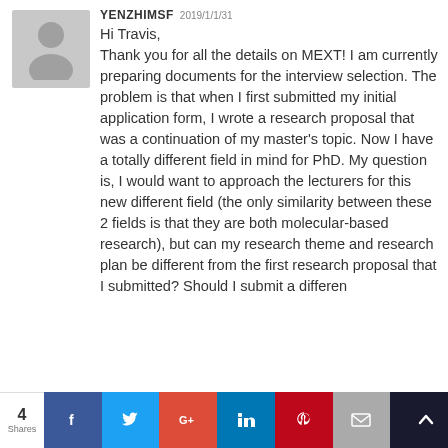[Figure (illustration): Gray silhouette avatar icon representing a person]
YENZHIMSF 2019/1/1/31
Hi Travis,
Thank you for all the details on MEXT! I am currently preparing documents for the interview selection. The problem is that when I first submitted my initial application form, I wrote a research proposal that was a continuation of my master's topic. Now I have a totally different field in mind for PhD. My question is, I would want to approach the lecturers for this new different field (the only similarity between these 2 fields is that they are both molecular-based research), but can my research theme and research plan be different from the first research proposal that I submitted? Should I submit a differen
4 Shares | Facebook | Twitter | Google+ | LinkedIn | Pinterest | Email | Bookmark